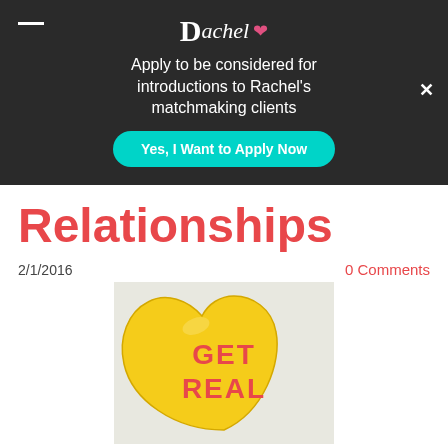Rachel ♡ — Apply to be considered for introductions to Rachel's matchmaking clients — Yes, I Want to Apply Now
Relationships
2/1/2016    0 Comments
[Figure (photo): Yellow heart-shaped candy with red text reading GET REAL]